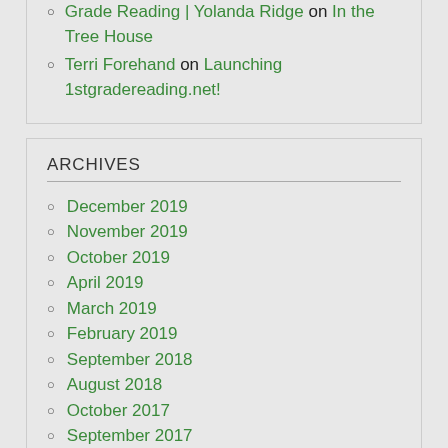Grade Reading | Yolanda Ridge on In the Tree House
Terri Forehand on Launching 1stgradereading.net!
ARCHIVES
December 2019
November 2019
October 2019
April 2019
March 2019
February 2019
September 2018
August 2018
October 2017
September 2017